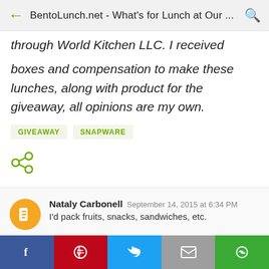BentoLunch.net - What's for Lunch at Our ...
through World Kitchen LLC. I received Snapware boxes and compensation to make these lunches, along with product for the giveaway, all opinions are my own.
GIVEAWAY
SNAPWARE
[Figure (other): Share icon (connected dots)]
Nataly Carbonell  September 14, 2015 at 6:34 PM
I'd pack fruits, snacks, sandwiches, etc.
Facebook | Pinterest | Twitter | Email | Google+